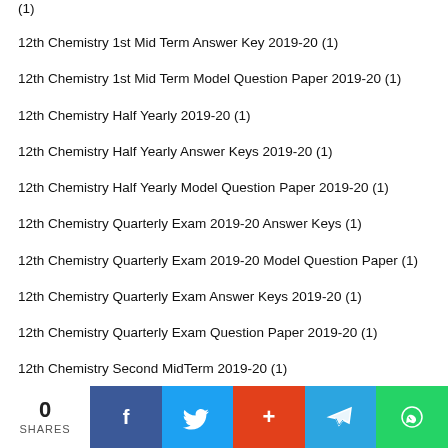12th Business Maths Quarterly Exam Question Paper 2019-20 (1)
12th Chemistry 1st Mid Term Answer Key 2019-20 (1)
12th Chemistry 1st Mid Term Model Question Paper 2019-20 (1)
12th Chemistry Half Yearly 2019-20 (1)
12th Chemistry Half Yearly Answer Keys 2019-20 (1)
12th Chemistry Half Yearly Model Question Paper 2019-20 (1)
12th Chemistry Quarterly Exam 2019-20 Answer Keys (1)
12th Chemistry Quarterly Exam 2019-20 Model Question Paper (1)
12th Chemistry Quarterly Exam Answer Keys 2019-20 (1)
12th Chemistry Quarterly Exam Question Paper 2019-20 (1)
12th Chemistry Second MidTerm 2019-20 (1)